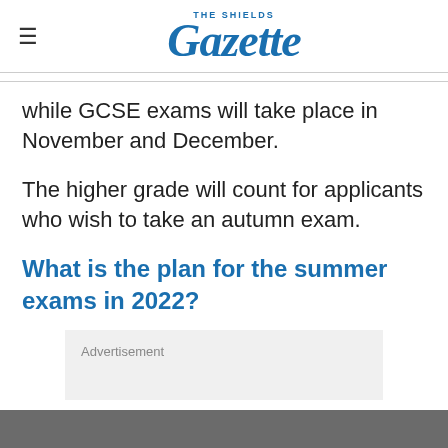THE SHIELDS Gazette
while GCSE exams will take place in November and December.
The higher grade will count for applicants who wish to take an autumn exam.
What is the plan for the summer exams in 2022?
Advertisement